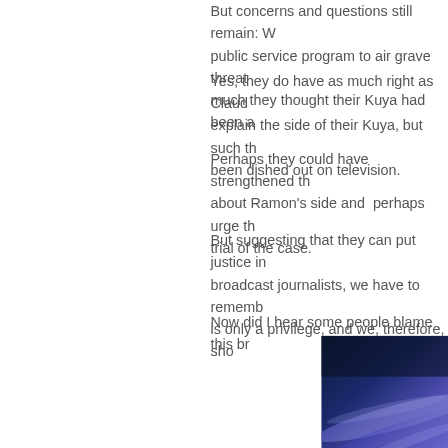But concerns and questions still remain: Why did a public service program to air grave threats against ra... much they thought their Kuya had been a...
Yes, they do have as much right as Claud... explain the side of their Kuya, but such th... been dished out on television.
Perhaps they could have strengthened th... about Ramon's side and perhaps urge th... trial of the case.
But suggesting that they can put justice in... broadcast journalists, we have to rememb... is only a privilege, and we, therefore, sho...
Now did I hear some people blame this br...
[Figure (photo): Abstract blue and purple gradient background photo, positioned in lower right area of page.]